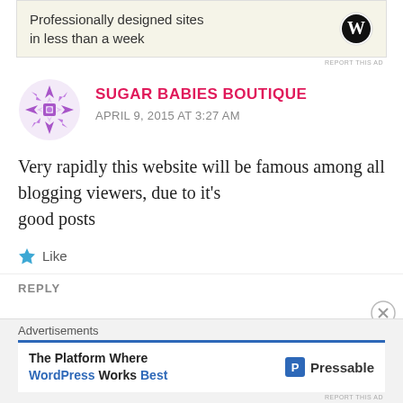[Figure (illustration): WordPress advertisement banner with beige background showing 'Professionally designed sites in less than a week' and WordPress logo]
REPORT THIS AD
SUGAR BABIES BOUTIQUE
APRIL 9, 2015 AT 3:27 AM
Very rapidly this website will be famous among all blogging viewers, due to it’s good posts
Like
REPLY
Advertisements
[Figure (illustration): Pressable advertisement: 'The Platform Where WordPress Works Best' with Pressable logo]